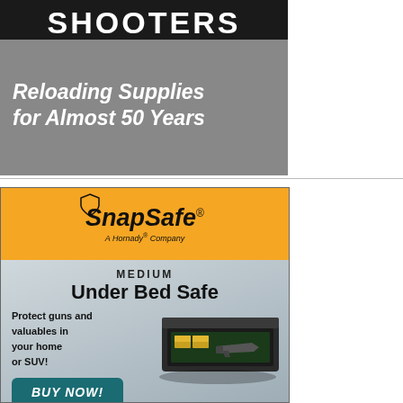[Figure (illustration): Advertisement for Shooters brand showing dark textured background with 'SHOOTERS' in white bold text on black bar, brown oval badge with 'SINCE 1969', and italic white text 'Reloading Supplies for Almost 50 Years']
[Figure (illustration): Advertisement for SnapSafe (A Hornady Company) showing orange header with SnapSafe logo and shield icon, gray body with 'MEDIUM Under Bed Safe' text, 'Protect guns and valuables in your home or SUV!' text, teal BUY NOW button, and image of an under-bed safe drawer with gun and ammo]